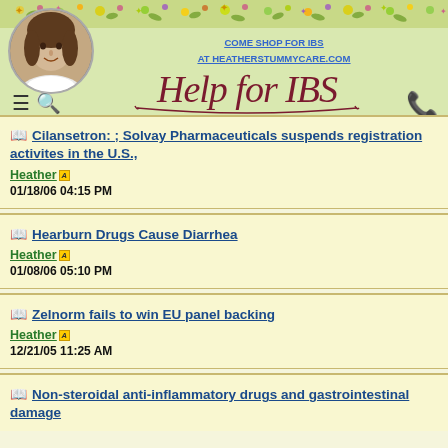COME SHOP FOR IBS AT HEATHERSTUMMYCARE.COM
[Figure (logo): Help for IBS cursive logo in dark red]
Cilansetron: ; Solvay Pharmaceuticals suspends registration activites in the U.S., | Heather | 01/18/06 04:15 PM
Hearburn Drugs Cause Diarrhea | Heather | 01/08/06 05:10 PM
Zelnorm fails to win EU panel backing | Heather | 12/21/05 11:25 AM
Non-steroidal anti-inflammatory drugs and gastrointestinal damage